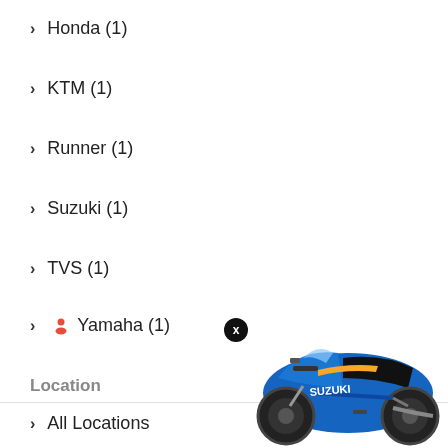> Honda (1)
> KTM (1)
> Runner (1)
> Suzuki (1)
> TVS (1)
> Yamaha (1)
Location
> All Locations
Chattogram Division (1)
Dhaka Division (6)
[Figure (photo): Blue Suzuki sport motorcycle with Suzuki branding, viewed from the side]